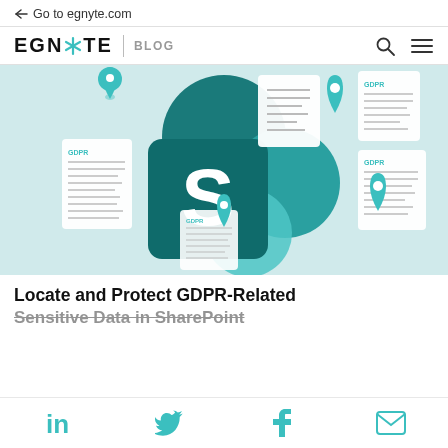← Go to egnyte.com
EGNYTE | BLOG
[Figure (illustration): Hero image showing Microsoft SharePoint logo (teal S icon) surrounded by teal location pin icons and floating GDPR document cards on a light teal background.]
Locate and Protect GDPR-Related Sensitive Data in SharePoint
LinkedIn | Twitter | Facebook | Email social share icons